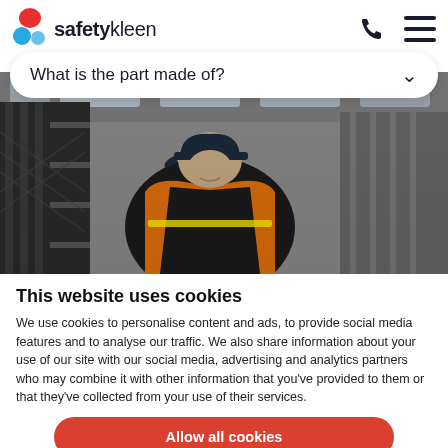safetykleen
What is the part made of?
[Figure (photo): A worker wearing an orange high-visibility vest and dark cap, working in an industrial facility with metal shelving and ceiling lights in the background.]
This website uses cookies
We use cookies to personalise content and ads, to provide social media features and to analyse our traffic. We also share information about your use of our site with our social media, advertising and analytics partners who may combine it with other information that you've provided to them or that they've collected from your use of their services.
Allow all cookies
Allow selection
Use necessary cookies only